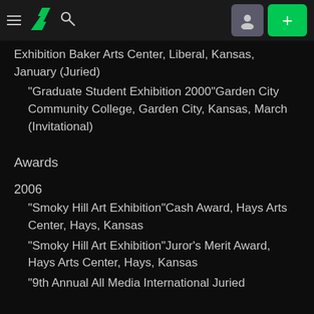Navigation bar with DeviantArt logo, search icon, user icon, and + button
Exhibition Baker Arts Center, Liberal, Kansas, January (Juried)
“Graduate Student Exhibition 2000”Garden City Community College, Garden City, Kansas, March (Invitational)
Awards
2006
“Smoky Hill Art Exhibition”Cash Award, Hays Arts Center, Hays, Kansas
“Smoky Hill Art Exhibition”Juror’s Merit Award, Hays Arts Center, Hays, Kansas
“9th Annual All Media International Juried